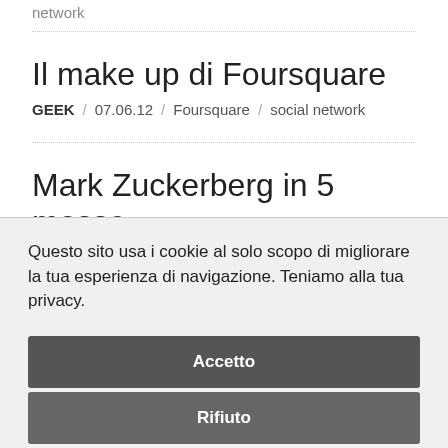network
Il make up di Foursquare
GEEK / 07.06.12 / Foursquare / social network
Mark Zuckerberg in 5 mosse
Questo sito usa i cookie al solo scopo di migliorare la tua esperienza di navigazione. Teniamo alla tua privacy.
Accetto
Rifiuto